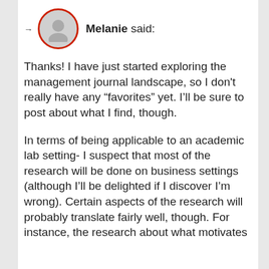Melanie said:
Thanks! I have just started exploring the management journal landscape, so I don't really have any “favorites” yet. I’ll be sure to post about what I find, though.
In terms of being applicable to an academic lab setting- I suspect that most of the research will be done on business settings (although I’ll be delighted if I discover I’m wrong). Certain aspects of the research will probably translate fairly well, though. For instance, the research about what motivates